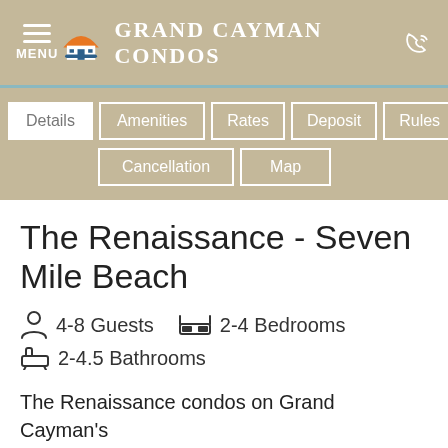GRAND CAYMAN CONDOS
Details
Amenities
Rates
Deposit
Rules
Cancellation
Map
The Renaissance - Seven Mile Beach
4-8 Guests   2-4 Bedrooms   2-4.5 Bathrooms
The Renaissance condos on Grand Cayman's